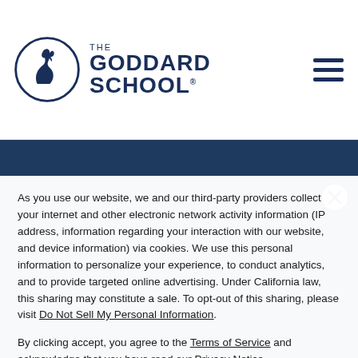[Figure (logo): The Goddard School logo with circular horse emblem and text]
Durham, North Carolina 27713
As you use our website, we and our third-party providers collect your internet and other electronic network activity information (IP address, information regarding your interaction with our website, and device information) via cookies. We use this personal information to personalize your experience, to conduct analytics, and to provide targeted online advertising. Under California law, this sharing may constitute a sale. To opt-out of this sharing, please visit Do Not Sell My Personal Information.
By clicking accept, you agree to the Terms of Service and acknowledge that you have read our Privacy Notice.
ACCEPT